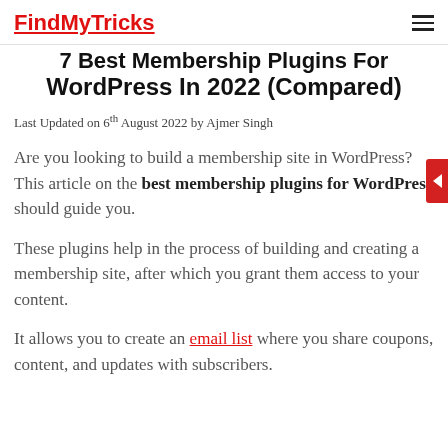FindMyTricks
7 Best Membership Plugins For WordPress In 2022 (Compared)
Last Updated on 6th August 2022 by Ajmer Singh
Are you looking to build a membership site in WordPress? This article on the best membership plugins for WordPress should guide you.
These plugins help in the process of building and creating a membership site, after which you grant them access to your content.
It allows you to create an email list where you share coupons, content, and updates with subscribers.